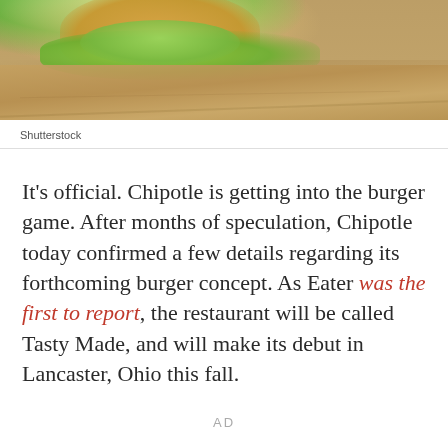[Figure (photo): A burger with green lettuce on a wooden surface, partially visible from top of frame. Warm tones of bread and wood visible.]
Shutterstock
It's official. Chipotle is getting into the burger game. After months of speculation, Chipotle today confirmed a few details regarding its forthcoming burger concept. As Eater was the first to report, the restaurant will be called Tasty Made, and will make its debut in Lancaster, Ohio this fall.
AD